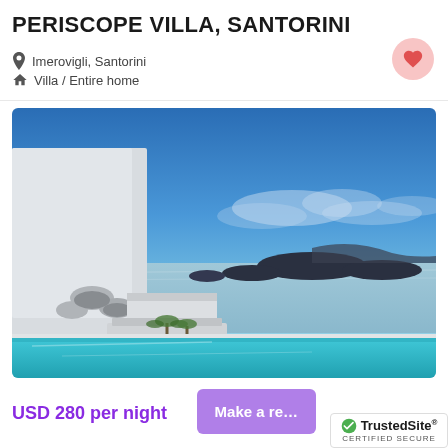PERISCOPE VILLA, SANTORINI
Imerovigli, Santorini
Villa / Entire home
[Figure (photo): Twilight view from Periscope Villa showing white Cycladic architecture with infinity pool and panoramic view of the Santorini caldera and volcanic islands under a blue dusk sky]
USD 280 per night
Make a re...
[Figure (logo): TrustedSite certified secure badge with green checkmark]